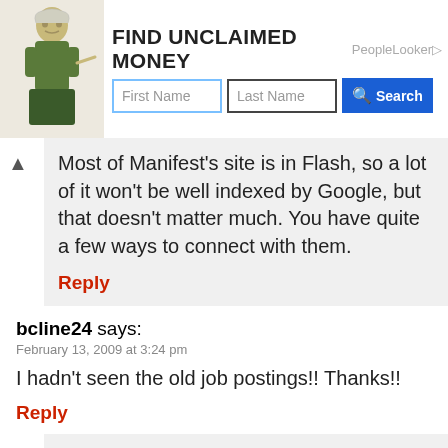[Figure (screenshot): PeopleLooker advertisement banner for 'Find Unclaimed Money' with First Name and Last Name input fields and a blue Search button.]
Most of Manifest's site is in Flash, so a lot of it won't be well indexed by Google, but that doesn't matter much. You have quite a few ways to connect with them.
Reply
bcline24 says:
February 13, 2009 at 3:24 pm

I hadn't seen the old job postings!! Thanks!!

Reply
mdabhi says:
February 26, 2009 at 3:04 pm

Found a really cool company called Happy